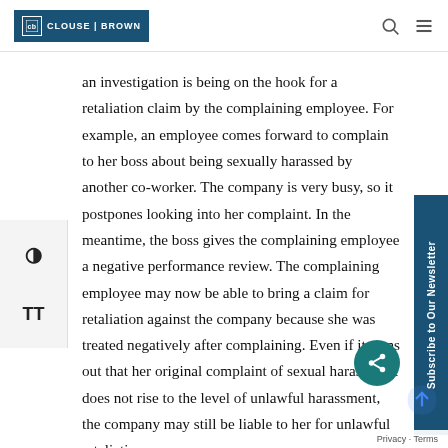CLOUSE | BROWN
an investigation is being on the hook for a retaliation claim by the complaining employee. For example, an employee comes forward to complain to her boss about being sexually harassed by another co-worker. The company is very busy, so it postpones looking into her complaint. In the meantime, the boss gives the complaining employee a negative performance review. The complaining employee may now be able to bring a claim for retaliation against the company because she was treated negatively after complaining. Even if it turns out that her original complaint of sexual harassment does not rise to the level of unlawful harassment, the company may still be liable to her for unlawful retaliation.